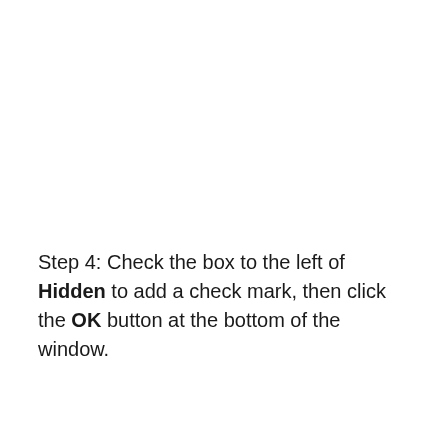Step 4: Check the box to the left of Hidden to add a check mark, then click the OK button at the bottom of the window.